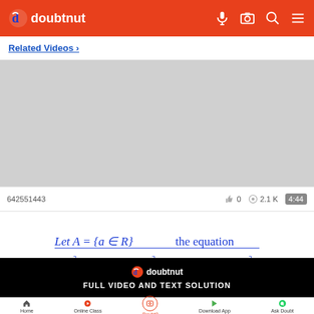doubtnut
Related Videos >
[Figure (screenshot): Video thumbnail placeholder (gray area)]
642551443  0  2.1 K  4:44
FULL VIDEO AND TEXT SOLUTION
Home  Online Class  Doubt?  Download App  Ask Doubt